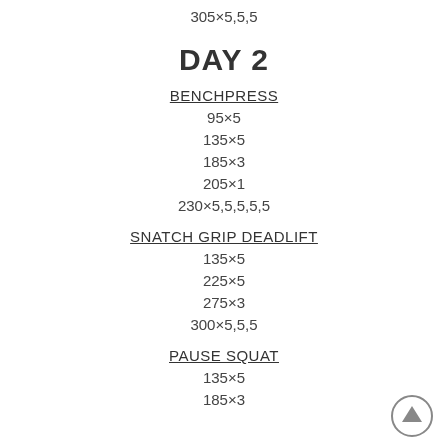305×5,5,5
DAY 2
BENCHPRESS
95×5
135×5
185×3
205×1
230×5,5,5,5,5
SNATCH GRIP DEADLIFT
135×5
225×5
275×3
300×5,5,5
PAUSE SQUAT
135×5
185×3